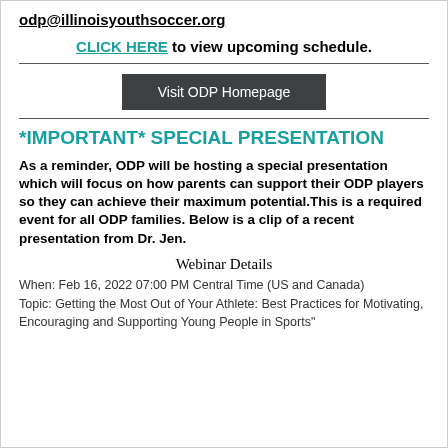odp@illinoisyouthsoccer.org
CLICK HERE to view upcoming schedule.
Visit ODP Homepage
*IMPORTANT* SPECIAL PRESENTATION
As a reminder, ODP will be hosting a special presentation which will focus on how parents can support their ODP players so they can achieve their maximum potential.This is a required event for all ODP families. Below is a clip of a recent presentation from Dr. Jen.
Webinar Details
When: Feb 16, 2022 07:00 PM Central Time (US and Canada)
Topic: Getting the Most Out of Your Athlete: Best Practices for Motivating, Encouraging and Supporting Young People in Sports"